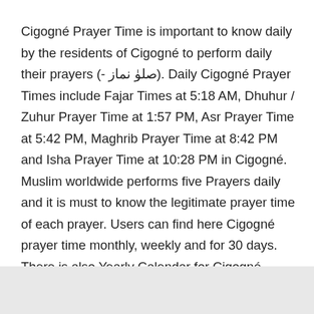Cigogné Prayer Time is important to know daily by the residents of Cigogné to perform daily their prayers (- صلوٰ نماز). Daily Cigogné Prayer Times include Fajar Times at 5:18 AM, Dhuhur / Zuhur Prayer Time at 1:57 PM, Asr Prayer Time at 5:42 PM, Maghrib Prayer Time at 8:42 PM and Isha Prayer Time at 10:28 PM in Cigogné. Muslim worldwide performs five Prayers daily and it is must to know the legitimate prayer time of each prayer. Users can find here Cigogné prayer time monthly, weekly and for 30 days. There is also Yearly Calendar for Cigogné Prayer Times.